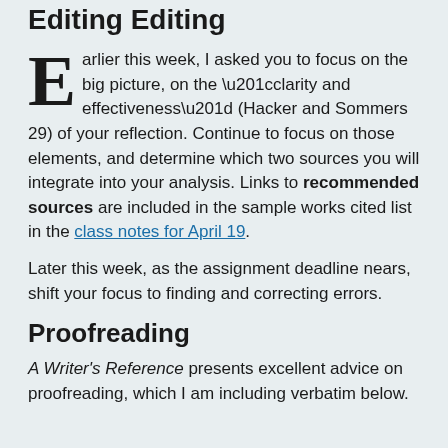Editing Editing
Earlier this week, I asked you to focus on the big picture, on the “clarity and effectiveness” (Hacker and Sommers 29) of your reflection. Continue to focus on those elements, and determine which two sources you will integrate into your analysis. Links to recommended sources are included in the sample works cited list in the class notes for April 19.
Later this week, as the assignment deadline nears, shift your focus to finding and correcting errors.
Proofreading
A Writer’s Reference presents excellent advice on proofreading, which I am including verbatim below.